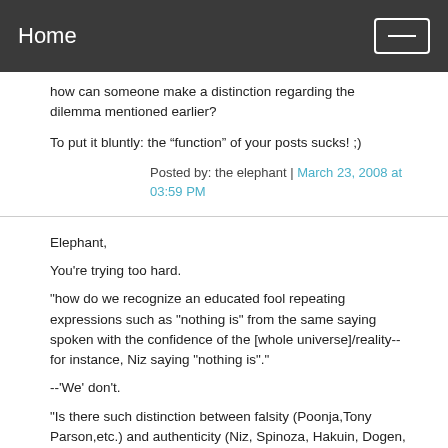Home
how can someone make a distinction regarding the dilemma mentioned earlier?
To put it bluntly: the “function” of your posts sucks! ;)
Posted by: the elephant | March 23, 2008 at 03:59 PM
Elephant,
You're trying too hard.
"how do we recognize an educated fool repeating expressions such as "nothing is" from the same saying spoken with the confidence of the [whole universe]/reality--for instance, Niz saying "nothing is"."
--'We' don't.
"Is there such distinction between falsity (Poonja,Tony Parson,etc.) and authenticity (Niz, Spinoza, Hakuin, Dogen, etc.)?"